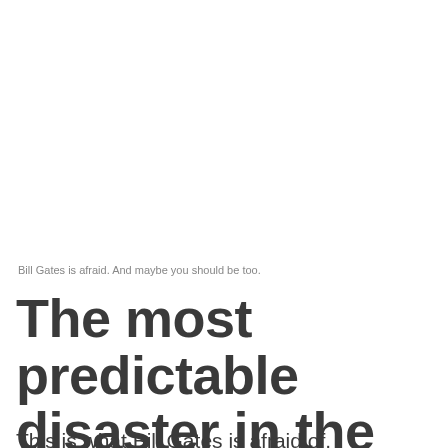Bill Gates is afraid. And maybe you should be too.
The most predictable disaster in the history of the human race
This is what Bill Gates is afraid of.